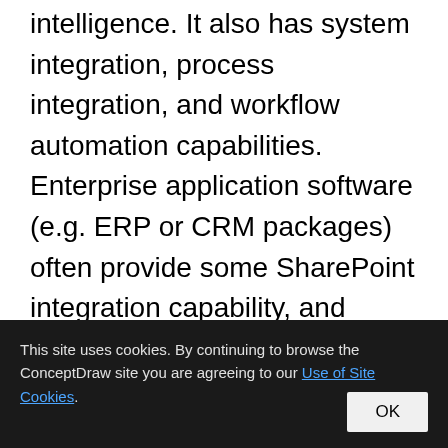intelligence. It also has system integration, process integration, and workflow automation capabilities. Enterprise application software (e.g. ERP or CRM packages) often provide some SharePoint integration capability, and SharePoint also incorporates a complete development stack based on web technologies and standards-based APIs. As an application platform, SharePoint provides central management, governance,
This site uses cookies. By continuing to browse the ConceptDraw site you are agreeing to our Use of Site Cookies. OK